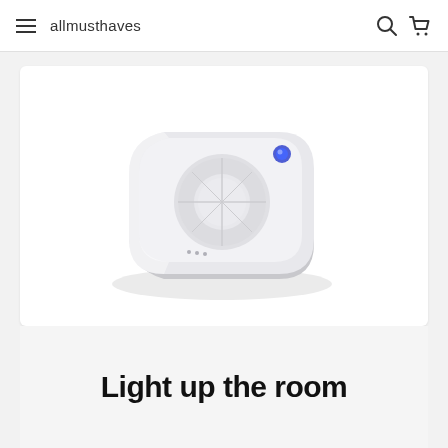allmusthaves
[Figure (photo): White square smart speaker / white noise machine device with rounded corners, circular control buttons on top surface, small dots on front face, and a blue LED indicator light in the upper right corner. Device is shown in a perspective 3/4 view on a white background.]
Light up the room